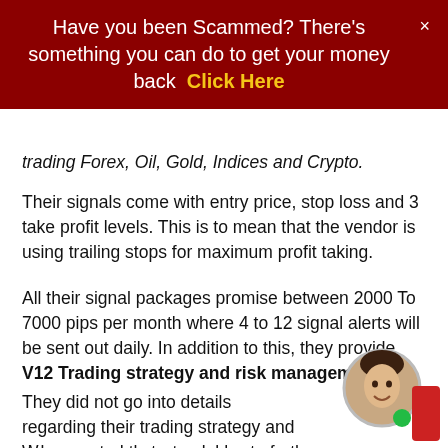Have you been Scammed? There's something you can do to get your money back  Click Here
trading Forex, Oil, Gold, Indices and Crypto.
Their signals come with entry price, stop loss and 3 take profit levels. This is to mean that the vendor is using trailing stops for maximum profit taking.
All their signal packages promise between 2000 To 7000 pips per month where 4 to 12 signal alerts will be sent out daily. In addition to this, they provide V12 Trading strategy and risk management.
They did not go into details regarding their trading strategy and risk management approach.
We expected them to elaborate further because are the fundamentals of successful trading.
[Figure (photo): Small circular avatar photo of a smiling woman with short dark hair, with a red button and green dot overlaid in bottom right corner]